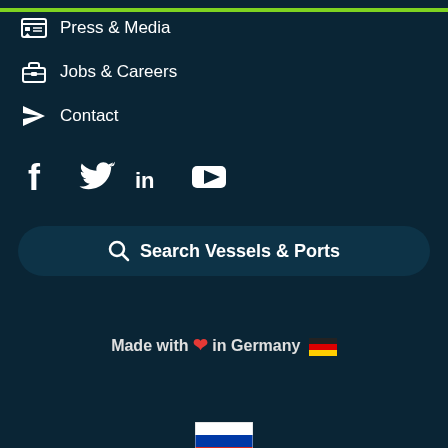Press & Media
Jobs & Careers
Contact
[Figure (infographic): Social media icons: Facebook, Twitter, LinkedIn, YouTube]
Search Vessels & Ports
Made with ❤ in Germany 🇩🇪
[Figure (illustration): Russian flag emoji / language selector icon]